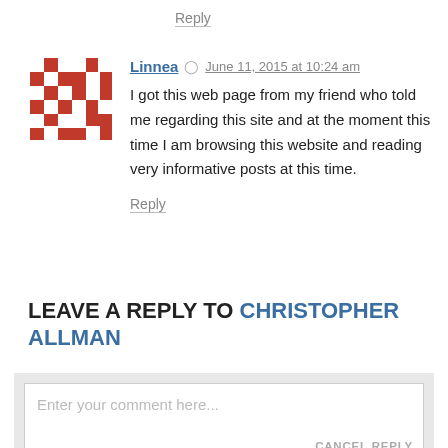Reply
Linnea  June 11, 2015 at 10:24 am
I got this web page from my friend who told me regarding this site and at the moment this time I am browsing this website and reading very informative posts at this time.
Reply
LEAVE A REPLY TO CHRISTOPHER ALLMAN
Enter your comment here...
CANCEL REPLY
This site uses Akismet to reduce spam. Learn how